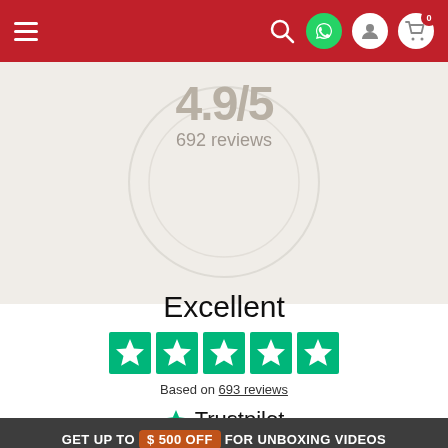Navigation bar with hamburger menu, search, whatsapp, account and cart icons
692 reviews
Excellent
[Figure (other): Five green Trustpilot star rating boxes]
Based on 693 reviews
[Figure (logo): Trustpilot logo with green star]
GET UP TO $ 500 OFF FOR UNBOXING VIDEOS
WHATSAPP US:
FOLLOW US ON SOCIAL MEDIA!